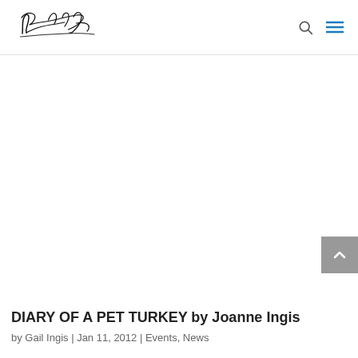[Figure (logo): Ingis handwritten script logo in black ink]
DIARY OF A PET TURKEY by Joanne Ingis
by Gail Ingis | Jan 11, 2012 | Events, News